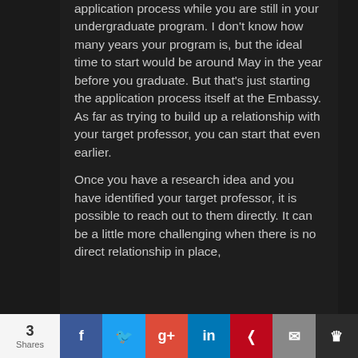application process while you are still in your undergraduate program. I don't know how many years your program is, but the ideal time to start would be around May in the year before you graduate. But that's just starting the application process itself at the Embassy. As far as trying to build up a relationship with your target professor, you can start that even earlier.
Once you have a research idea and you have identified your target professor, it is possible to reach out to them directly. It can be a little more challenging when there is no direct relationship in place,
3 Shares | Facebook | Twitter | Google+ | LinkedIn | Pinterest | Email | Crown